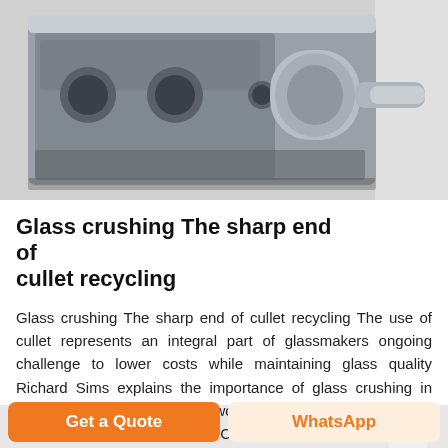[Figure (photo): Industrial glass crusher machine component — a heavy metal housing with cylindrical shaft and bearings, lying on a workshop floor. Gray metallic surfaces with circular openings visible.]
Glass crushing The sharp end of cullet recycling
Glass crushing The sharp end of cullet recycling The use of cullet represents an integral part of glassmakers ongoing challenge to lower costs while maintaining glass quality Richard Sims explains the importance of glass crushing in cullet preparation and how two crusher systems from EME help to streamline the process C ertain aspects of